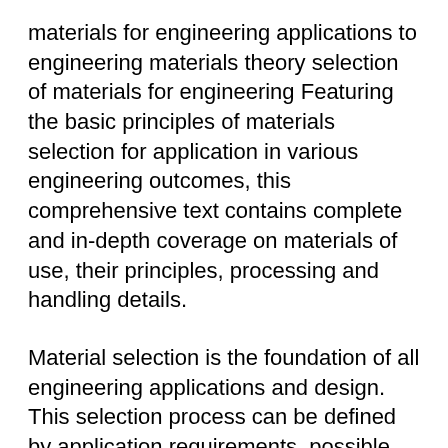materials for engineering applications to engineering materials theory selection of materials for engineering Featuring the basic principles of materials selection for application in various engineering outcomes, this comprehensive text contains complete and in-depth coverage on materials of use, their principles, processing and handling details.
Material selection is the foundation of all engineering applications and design. This selection process can be defined by application requirements, possible materials, physical principles, and selection. The design or function of the part/application is the application